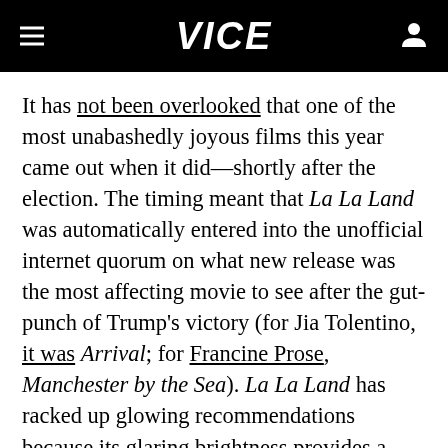VICE
It has not been overlooked that one of the most unabashedly joyous films this year came out when it did—shortly after the election. The timing meant that La La Land was automatically entered into the unofficial internet quorum on what new release was the most affecting movie to see after the gut-punch of Trump's victory (for Jia Tolentino, it was Arrival; for Francine Prose, Manchester by the Sea). La La Land has racked up glowing recommendations because its glaring brightness provides a happy respite from the American political situation, which